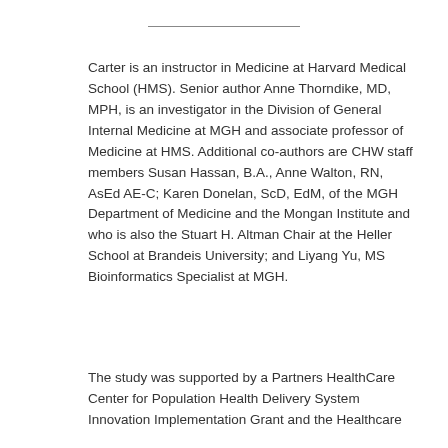Carter is an instructor in Medicine at Harvard Medical School (HMS). Senior author Anne Thorndike, MD, MPH, is an investigator in the Division of General Internal Medicine at MGH and associate professor of Medicine at HMS. Additional co-authors are CHW staff members Susan Hassan, B.A., Anne Walton, RN, AsEd AE-C; Karen Donelan, ScD, EdM, of the MGH Department of Medicine and the Mongan Institute and who is also the Stuart H. Altman Chair at the Heller School at Brandeis University; and Liyang Yu, MS Bioinformatics Specialist at MGH.
The study was supported by a Partners HealthCare Center for Population Health Delivery System Innovation Implementation Grant and the Healthcare